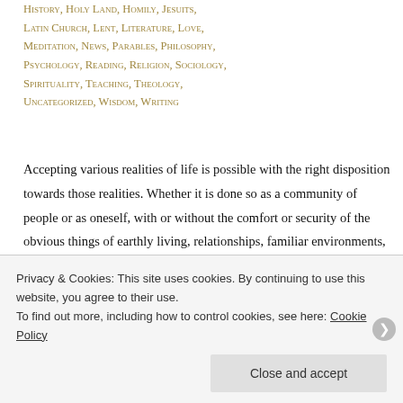History, Holy Land, Homily, Jesuits, Latin Church, Lent, Literature, Love, Meditation, News, Parables, Philosophy, Psychology, Reading, Religion, Sociology, Spirituality, Teaching, Theology, Uncategorized, Wisdom, Writing
Accepting various realities of life is possible with the right disposition towards those realities. Whether it is done so as a community of people or as oneself, with or without the comfort or security of the obvious things of earthly living, relationships, familiar environments, etc. There is one of many, peculiar reality of life, which not only is life altering but something that makes life defining, at the very core of it. That is the reality of suffering.
Privacy & Cookies: This site uses cookies. By continuing to use this website, you agree to their use. To find out more, including how to control cookies, see here: Cookie Policy
Close and accept